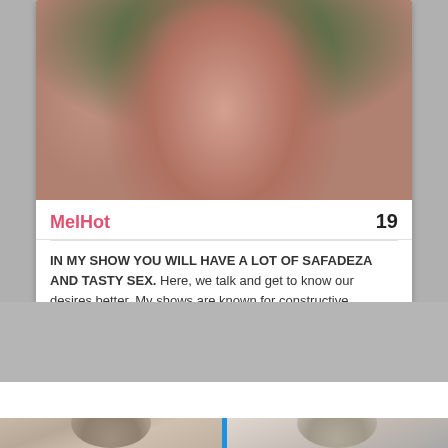[Figure (photo): Profile photo of a young woman with auburn hair, heavy makeup, wearing a white off-shoulder top, with green foliage in background]
MelHot	19
IN MY SHOW YOU WILL HAVE A LOT OF SAFADEZA AND TASTY SEX. Here, we talk and get to know our desires better. My shows are known for constructive conversations, perfect place to be at ease and make our fantasies come true. Don't
All Sex Chats
Sponsored Ads
[Figure (photo): Two side-by-side sponsored ad profile photos of young women]